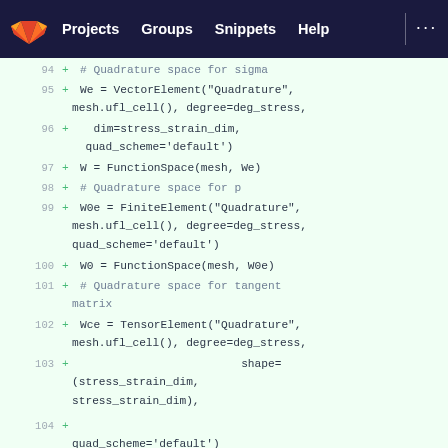GitLab navigation bar with Projects, Groups, Snippets, Help
[Figure (screenshot): GitLab code diff view showing Python code lines 94-104 with added lines (green +) defining FEniCS finite element spaces for quadrature elements]
94  + # Quadrature space for sigma
95  + We = VectorElement("Quadrature",
       mesh.ufl_cell(), degree=deg_stress,
96  +  dim=stress_strain_dim,
       quad_scheme='default')
97  + W = FunctionSpace(mesh, We)
98  + # Quadrature space for p
99  + W0e = FiniteElement("Quadrature",
       mesh.ufl_cell(), degree=deg_stress,
       quad_scheme='default')
100 + W0 = FunctionSpace(mesh, W0e)
101 + # Quadrature space for tangent
       matrix
102 + Wce = TensorElement("Quadrature",
       mesh.ufl_cell(), degree=deg_stress,
103 +                          shape=
       (stress_strain_dim,
       stress_strain_dim),
104 +
       quad_scheme='default')